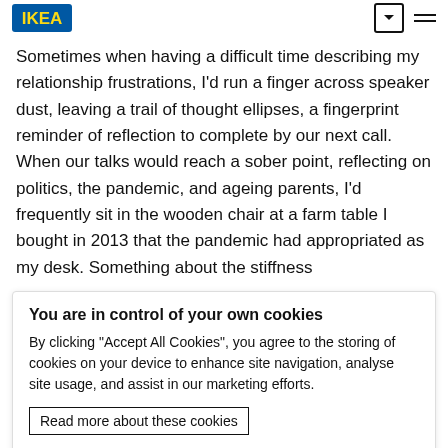IKEA logo and navigation icons
Sometimes when having a difficult time describing my relationship frustrations, I'd run a finger across speaker dust, leaving a trail of thought ellipses, a fingerprint reminder of reflection to complete by our next call. When our talks would reach a sober point, reflecting on politics, the pandemic, and ageing parents, I'd frequently sit in the wooden chair at a farm table I bought in 2013 that the pandemic had appropriated as my desk. Something about the stiffness
You are in control of your own cookies
By clicking “Accept All Cookies”, you agree to the storing of cookies on your device to enhance site navigation, analyse site usage, and assist in our marketing efforts.
Read more about these cookies
Accept All Cookies
Cookies Settings
actions we as men exhibit when confronted with the